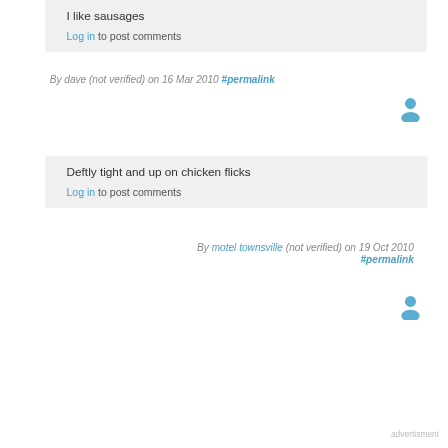I like sausages
Log in to post comments
By dave (not verified) on 16 Mar 2010 #permalink
Deftly tight and up on chicken flicks
Log in to post comments
By motel townsville (not verified) on 19 Oct 2010 #permalink
advertisment